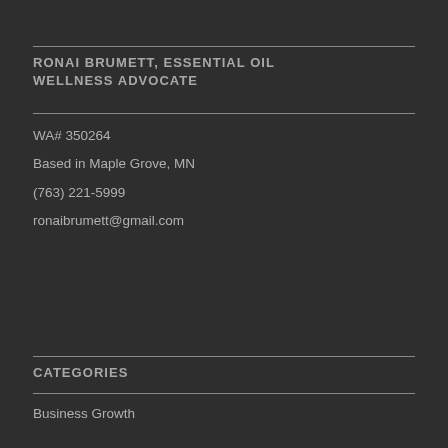RONAI BRUMETT, ESSENTIAL OIL WELLNESS ADVOCATE
WA# 350264
Based in Maple Grove, MN
(763) 221-5999
ronaibrumett@gmail.com
CATEGORIES
Business Growth